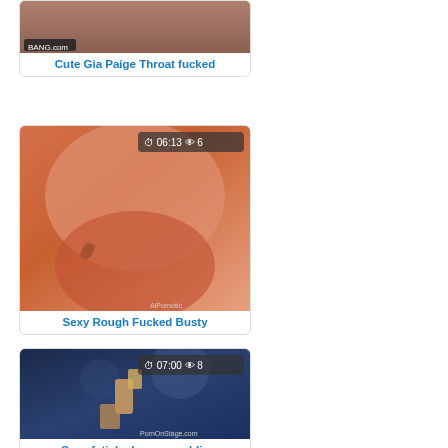[Figure (photo): Thumbnail for video: Cute Gia Paige Throat fucked, with BANG.com watermark]
Cute Gia Paige Throat fucked
[Figure (photo): Thumbnail for video: Sexy Rough Fucked Busty, duration 06:13, 6 views]
Sexy Rough Fucked Busty
[Figure (photo): Thumbnail for video: Sexy fetish show on public, duration 07:00, 8 views, PornOnStage.com watermark]
Sexy fetish show on public